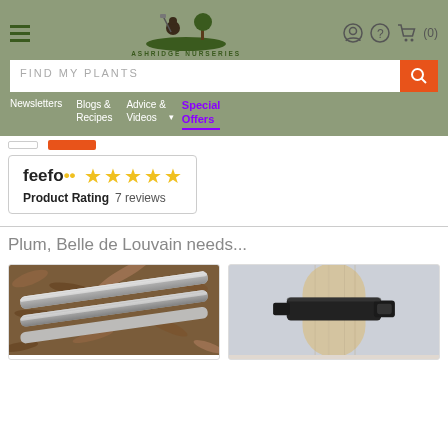Ashridge Nurseries — navigation header with logo, hamburger menu, account icon, help icon, cart (0)
FIND MY PLANTS
Newsletters | Blogs & Recipes | Advice & Videos | Special Offers
[Figure (other): Feefo product rating badge showing 5 stars and 7 reviews]
Plum, Belle de Louvain needs...
[Figure (photo): Close-up photo of metal stakes/rods lying on wood chip mulch]
[Figure (photo): Close-up photo of a black rubber tree tie/buckle fastener around a wooden post]